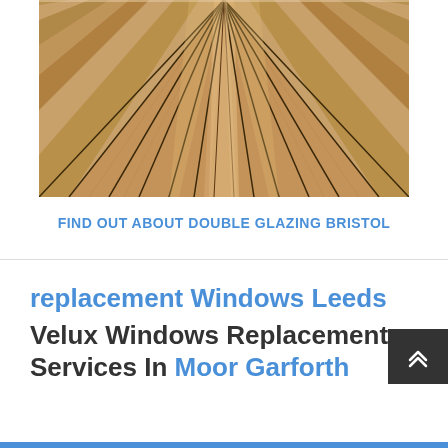[Figure (photo): Wooden floor planks photographed from a low perspective, creating a vanishing point perspective view of light brown wood planks with dark gaps between them.]
FIND OUT ABOUT DOUBLE GLAZING BRISTOL
replacement Windows Leeds Velux Windows Replacement Services In Moor Garforth